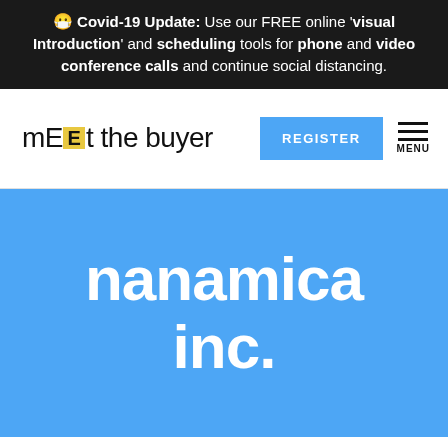🌐 Covid-19 Update: Use our FREE online 'visual Introduction' and scheduling tools for phone and video conference calls and continue social distancing.
[Figure (logo): mEEt the buyer logo with stylized E block, REGISTER button in blue, and MENU hamburger icon]
nanamica inc.